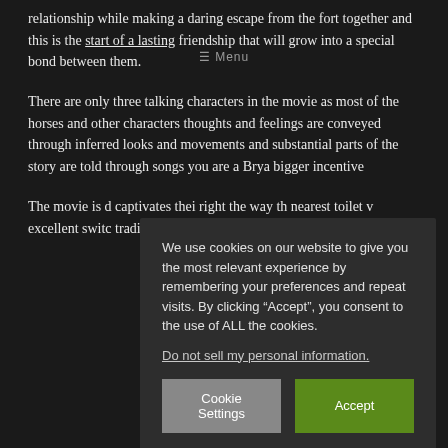relationship while making a daring escape from the fort together and this is the start of a lasting friendship that will grow into a special bond between them.
There are only three talking characters in the movie as most of the horses and other characters thoughts and feelings are conveyed through inferred looks and movements and substantial parts of the story are told through songs you are a Brya bigger incentive
The movie is d captivates thei right the way th nearest toilet w excellent switc tradition 2D ar
We use cookies on our website to give you the most relevant experience by remembering your preferences and repeat visits. By clicking “Accept”, you consent to the use of ALL the cookies.
Do not sell my personal information.
Cookie Settings
Accept
Privacy Policy